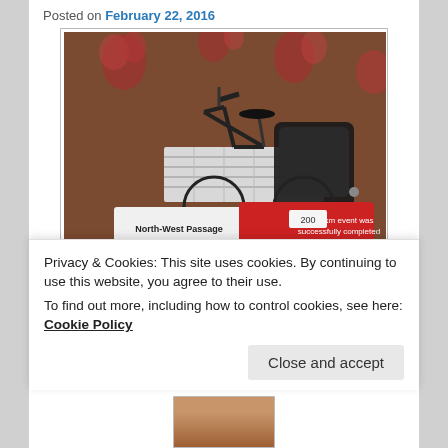Posted on February 22, 2016
[Figure (photo): Photo of a bicycle leaning against a wall with floral wallpaper and a radiator, with two documents/packets in front: one white labeled 'North-West Passage 200 km' and one red showing completion certificate details with times '12' hours & '13' minutes, and distance '200 km'.]
Privacy & Cookies: This site uses cookies. By continuing to use this website, you agree to their use.
To find out more, including how to control cookies, see here: Cookie Policy
Close and accept